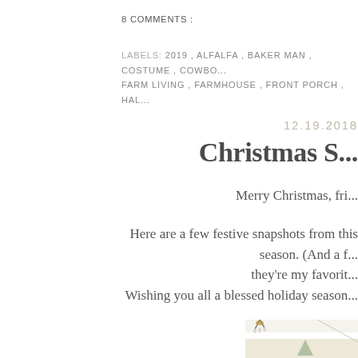8 COMMENTS :
LABELS: 2019 , ALFALFA , BAKER MAN , COSTUME , COWBO... FARM LIVING , FARMHOUSE , FRONT PORCH , HAL...
12.19.2018
Christmas S...
Merry Christmas, fri...
Here are a few festive snapshots from this season. (And a f... they're my favorit...
Wishing you all a blessed holiday season...
[Figure (photo): Interior room photo showing a crystal chandelier against a cream/beige wall with white crown molding, and a partial view of a Christmas tree at the bottom]